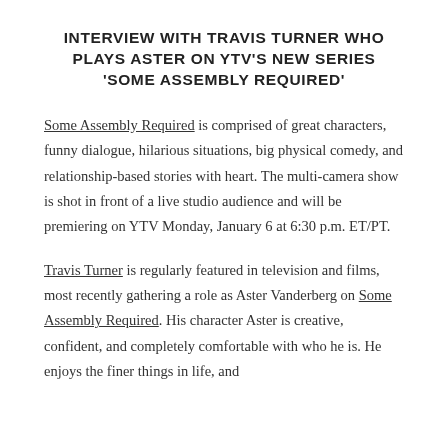INTERVIEW WITH TRAVIS TURNER WHO PLAYS ASTER ON YTV'S NEW SERIES 'SOME ASSEMBLY REQUIRED'
Some Assembly Required is comprised of great characters, funny dialogue, hilarious situations, big physical comedy, and relationship-based stories with heart. The multi-camera show is shot in front of a live studio audience and will be premiering on YTV Monday, January 6 at 6:30 p.m. ET/PT.
Travis Turner is regularly featured in television and films, most recently gathering a role as Aster Vanderberg on Some Assembly Required. His character Aster is creative, confident, and completely comfortable with who he is. He enjoys the finer things in life, and